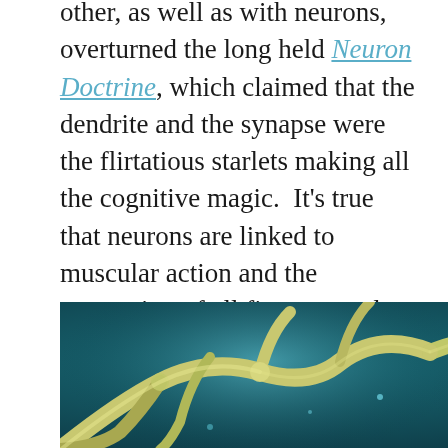other, as well as with neurons, overturned the long held Neuron Doctrine, which claimed that the dendrite and the synapse were the flirtatious starlets making all the cognitive magic. It's true that neurons are linked to muscular action and the processing of all five external senses, but we now know that astrocytes are monitoring these neurons and processing all the information.
[Figure (photo): Microscopic/artistic rendering of neurons and astrocytes — branching yellowish-green cell structures on a teal/blue background]